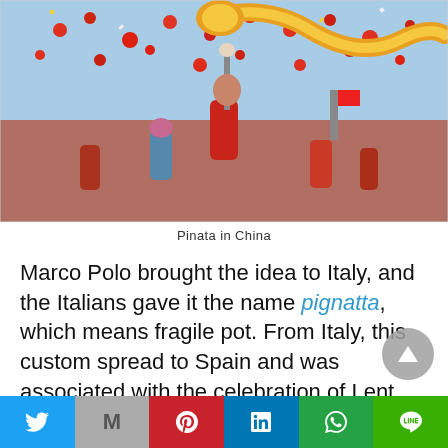[Figure (photo): Colorful Chinese New Year celebration with people in red traditional costumes performing a dragon dance, red lanterns and confetti in the air against a blue sky.]
Pinata in China
Marco Polo brought the idea to Italy, and the Italians gave it the name pignatta, which means fragile pot. From Italy, this custom spread to Spain and was associated with the celebration of Lent. The first Sunday in Lent there was a fiesta, which was called the